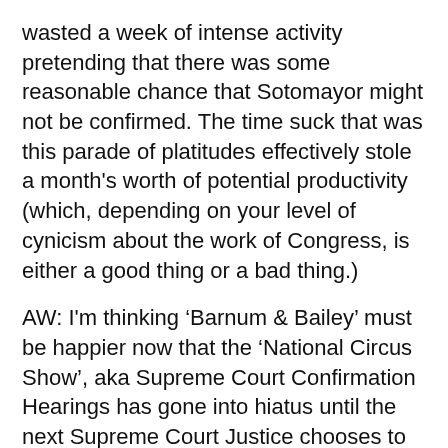wasted a week of intense activity pretending that there was some reasonable chance that Sotomayor might not be confirmed. The time suck that was this parade of platitudes effectively stole a month's worth of potential productivity (which, depending on your level of cynicism about the work of Congress, is either a good thing or a bad thing.)
AW: I'm thinking ‘Barnum & Bailey’ must be happier now that the ‘National Circus Show’, aka Supreme Court Confirmation Hearings has gone into hiatus until the next Supreme Court Justice chooses to retire.
AW: It’s been amazing the past week the questions asked of Judge Sotomayor in terms of her rich life experiences as Republican Senators want to insure she follows the letter of the law. I have no doubt our Founding Fathers would be so happy to know this. After all, I’m sure the experiences suffered by those under British Rule probably had no bearing on how our Constitution was written.
RD: Obama remains supremely confident of himself even as the evidence for the efficacy of his stimulus package has yet